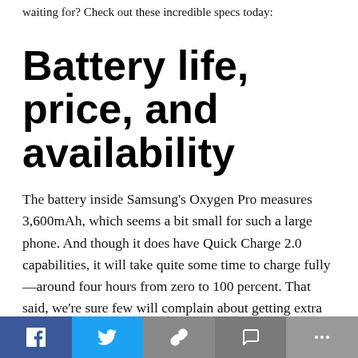waiting for? Check out these incredible specs today:
Battery life, price, and availability
The battery inside Samsung's Oxygen Pro measures 3,600mAh, which seems a bit small for such a large phone. And though it does have Quick Charge 2.0 capabilities, it will take quite some time to charge fully—around four hours from zero to 100 percent. That said, we're sure few will complain about getting extra screen real estate on a device that could last an entire day on one charge. As far as availability goes, there aren't any
Facebook Twitter Link Comment More